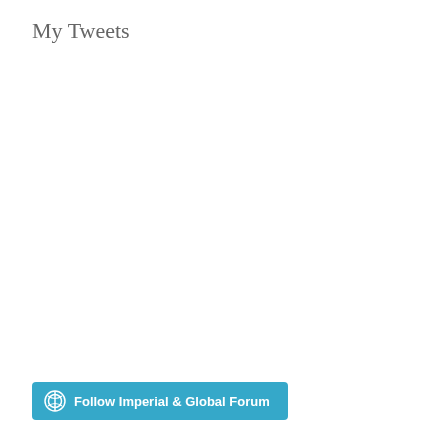My Tweets
[Figure (logo): WordPress follow button with text 'Follow Imperial & Global Forum' on a teal/cyan background with WordPress logo icon on the left]